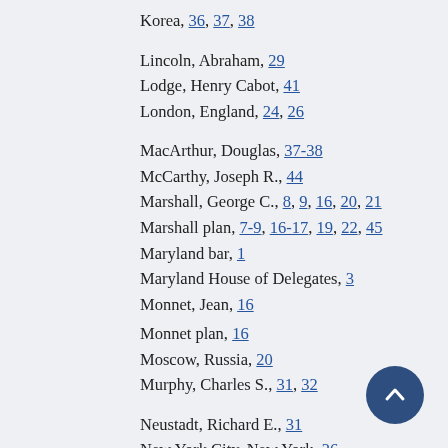Korea, 36, 37, 38
Lincoln, Abraham, 29
Lodge, Henry Cabot, 41
London, England, 24, 26
MacArthur, Douglas, 37-38
McCarthy, Joseph R., 44
Marshall, George C., 8, 9, 16, 20, 21
Marshall plan, 7-9, 16-17, 19, 22, 45
Maryland bar, 1
Maryland House of Delegates, 3
Monnet, Jean, 16
Monnet plan, 16
Moscow, Russia, 20
Murphy, Charles S., 31, 32
Neustadt, Richard E., 31
New York City, New York, 26
Nitze, Paul, 10-11